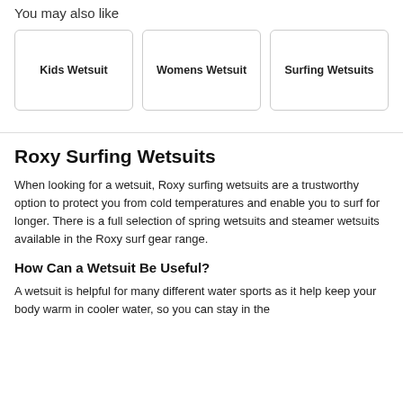You may also like
[Figure (other): Three product category cards in a row: Kids Wetsuit, Womens Wetsuit, Surfing Wetsuits]
Roxy Surfing Wetsuits
When looking for a wetsuit, Roxy surfing wetsuits are a trustworthy option to protect you from cold temperatures and enable you to surf for longer. There is a full selection of spring wetsuits and steamer wetsuits available in the Roxy surf gear range.
How Can a Wetsuit Be Useful?
A wetsuit is helpful for many different water sports as it help keep your body warm in cooler water, so you can stay in the